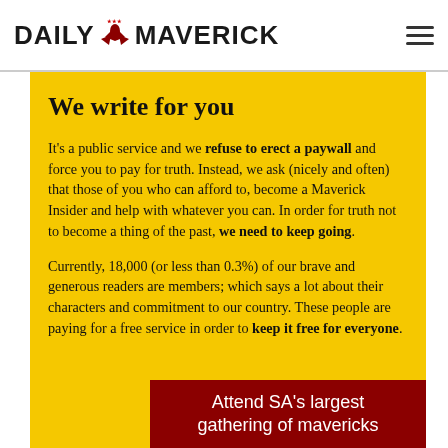DAILY MAVERICK
We write for you
It's a public service and we refuse to erect a paywall and force you to pay for truth. Instead, we ask (nicely and often) that those of you who can afford to, become a Maverick Insider and help with whatever you can. In order for truth not to become a thing of the past, we need to keep going.
Currently, 18,000 (or less than 0.3%) of our brave and generous readers are members; which says a lot about their characters and commitment to our country. These people are paying for a free service in order to keep it free for everyone.
[Figure (other): Red banner with white text: Attend SA's largest gathering of mavericks]